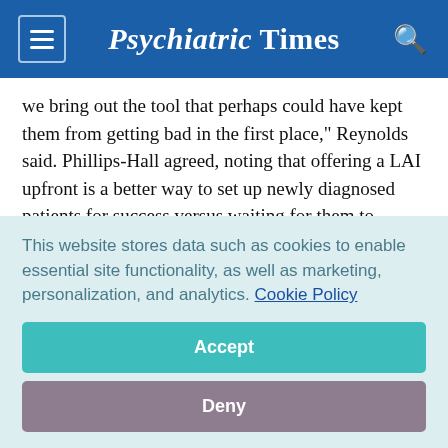Psychiatric Times
we bring out the tool that perhaps could have kept them from getting bad in the first place," Reynolds said. Phillips-Hall agreed, noting that offering a LAI upfront is a better way to set up newly diagnosed patients for success versus waiting for them to experience treatment failure with several oral medications.
Patient-Focused Care and Shared Decision Making
This website stores data such as cookies to enable essential site functionality, as well as marketing, personalization, and analytics. Cookie Policy
Accept
Deny